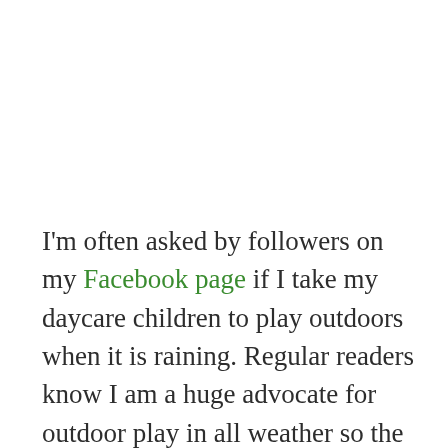I'm often asked by followers on my Facebook page if I take my daycare children to play outdoors when it is raining. Regular readers know I am a huge advocate for outdoor play in all weather so the short answer is yes we do...usually. There are of course circumstances when I do decide it is not in the children's best interests, as an